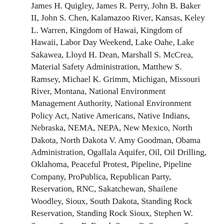James H. Quigley, James R. Perry, John B. Baker II, John S. Chen, Kalamazoo River, Kansas, Keley L. Warren, Kingdom of Hawai, Kingdom of Hawaii, Labor Day Weekend, Lake Oahe, Lake Sakawea, Lloyd H. Dean, Marshall S. McCrea, Material Safety Administration, Matthew S. Ramsey, Michael K. Grimm, Michigan, Missouri River, Montana, National Environment Management Authority, National Environment Policy Act, Native Americans, Native Indians, Nebraska, NEMA, NEPA, New Mexico, North Dakota, North Dakota V. Amy Goodman, Obama Administration, Ogallala Aquifer, Oil, Oil Drilling, Oklahoma, Peaceful Protest, Pipeline, Pipeline Company, ProPublica, Republican Party, Reservation, RNC, Sakatchewan, Shailene Woodley, Sioux, South Dakota, Standing Rock Reservation, Standing Rock Sioux, Stephen W. Sanger, Susan E. Engel, Susan G. Swenson, Susan Sarandon, Suzanne M. Vautrinot, Ted Collins Jr., Texas, The Great Sioux Nations Treaty Territories, Timothy J. Sloan, Tribal Lands, U.S. Army Corps of Engineers, United States, United States of America, US Army, US Congress, US Marines, USA, Video Report, Wells Fargo, Wells Fargo